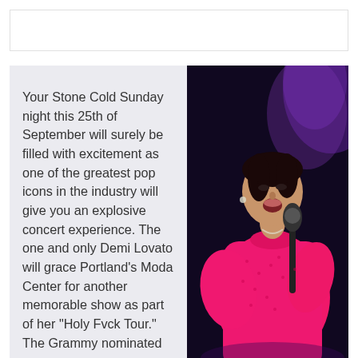[Figure (other): Empty white header bar with border]
Your Stone Cold Sunday night this 25th of September will surely be filled with excitement as one of the greatest pop icons in the industry will give you an explosive concert experience. The one and only Demi Lovato will grace Portland's Moda Center for another memorable show as part of her “Holy Fvck Tour.” The Grammy nominated
[Figure (photo): Photo of Demi Lovato singing on stage, wearing a bright pink oversized shirt, holding a microphone, with purple stage lighting and dark background]